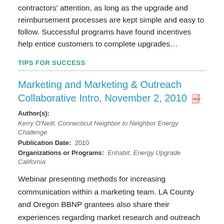contractors' attention, as long as the upgrade and reimbursement processes are kept simple and easy to follow. Successful programs have found incentives help entice customers to complete upgrades…
TIPS FOR SUCCESS
Marketing and Marketing & Outreach Collaborative Intro, November 2, 2010
Author(s): Kerry O'Neill, Connecticut Neighbor to Neighbor Energy Challenge
Publication Date: 2010
Organizations or Programs: Enhabit, Energy Upgrade California
Webinar presenting methods for increasing communication within a marketing team. LA County and Oregon BBNP grantees also share their experiences regarding market research and outreach strategy development.
RESOURCE · WEBCAST